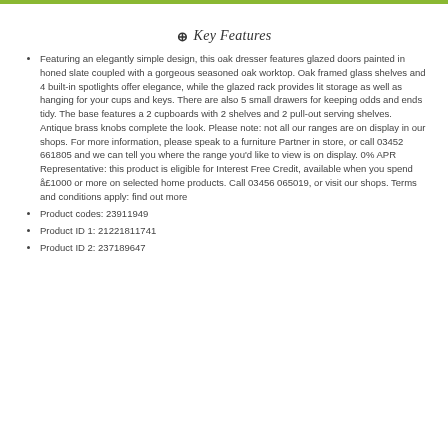⊕  Key Features
Featuring an elegantly simple design, this oak dresser features glazed doors painted in honed slate coupled with a gorgeous seasoned oak worktop. Oak framed glass shelves and 4 built-in spotlights offer elegance, while the glazed rack provides lit storage as well as hanging for your cups and keys. There are also 5 small drawers for keeping odds and ends tidy. The base features a 2 cupboards with 2 shelves and 2 pull-out serving shelves. Antique brass knobs complete the look. Please note: not all our ranges are on display in our shops. For more information, please speak to a furniture Partner in store, or call 03452 661805 and we can tell you where the range you'd like to view is on display. 0% APR Representative: this product is eligible for Interest Free Credit, available when you spend å£1000 or more on selected home products. Call 03456 065019, or visit our shops. Terms and conditions apply: find out more
Product codes: 23911949
Product ID 1: 21221811741
Product ID 2: 237189647